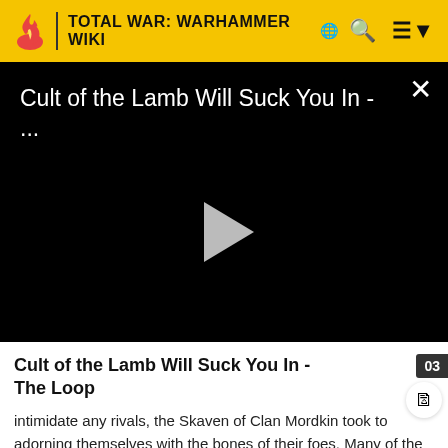TOTAL WAR: WARHAMMER WIKI
[Figure (screenshot): Video player with black background showing title 'Cult of the Lamb Will Suck You In - ...' with a play button and close X button]
Cult of the Lamb Will Suck You In - The Loop
intimidate any rivals, the Skaven of Clan Mordkin took to adorning themselves with the bones of their foes. Many of the Skaven dyed patches of their fur or else